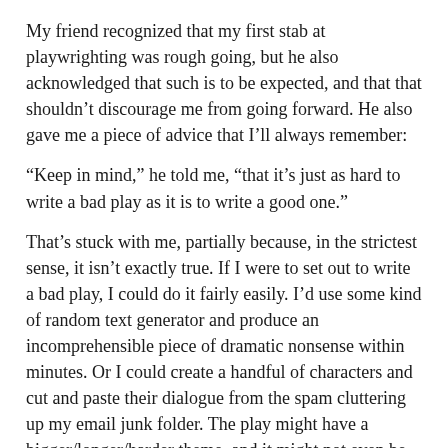My friend recognized that my first stab at playwrighting was rough going, but he also acknowledged that such is to be expected, and that that shouldn't discourage me from going forward. He also gave me a piece of advice that I'll always remember:
“Keep in mind,” he told me, “that it’s just as hard to write a bad play as it is to write a good one.”
That’s stuck with me, partially because, in the strictest sense, it isn’t exactly true. If I were to set out to write a bad play, I could do it fairly easily. I’d use some kind of random text generator and produce an incomprehensible piece of dramatic nonsense within minutes. Or I could create a handful of characters and cut and paste their dialogue from the spam cluttering up my email junk folder. The play might have a bigger/longer/harder theme, and it might not even be in English or any recognizable language, but it would certainly be bad.